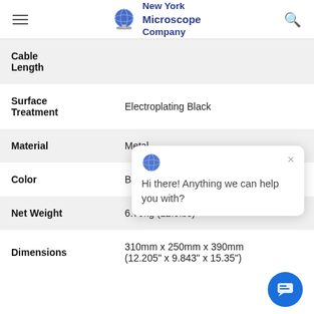New York Microscope Company
| Property | Value |
| --- | --- |
| Cable Length |  |
| Surface Treatment | Electroplating Black |
| Material | Metal |
| Color | Bla[ck] |
| Net Weight | 6.79kg (12.9lbs) |
| Dimensions | 310mm x 250mm x 390mm (12.205" x 9.843" x 15.35") |
[Figure (screenshot): Chat popup with globe icon and message: Hi there! Anything we can help you with?]
[Figure (other): Blue circular chat button]